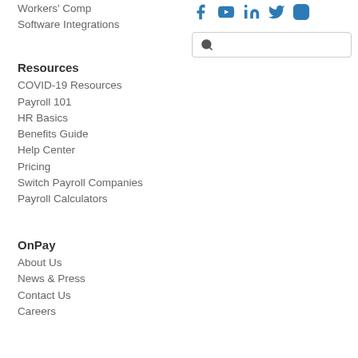Workers' Comp
Software Integrations
[Figure (infographic): Social media icons: Facebook, YouTube, LinkedIn, Twitter, Instagram in blue]
[Figure (screenshot): Search input box with magnifying glass icon]
Resources
COVID-19 Resources
Payroll 101
HR Basics
Benefits Guide
Help Center
Pricing
Switch Payroll Companies
Payroll Calculators
OnPay
About Us
News & Press
Contact Us
Careers